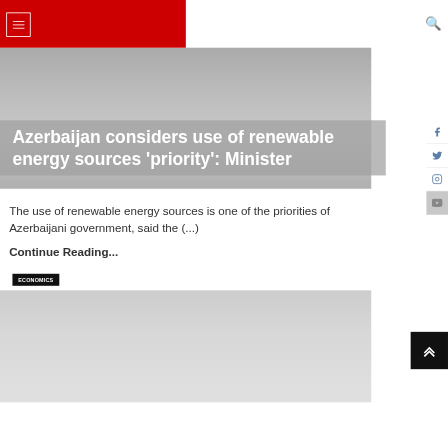Navigation header with hamburger menu and search icon
[Figure (photo): Gray gradient image area representing an article hero image for a news article about Azerbaijan renewable energy]
Azerbaijan considers use of renewable energy sources 'priority': Minister
The use of renewable energy sources is one of the priorities of Azerbaijani government, said the (...)
Continue Reading...
ECONOMICS
[Figure (photo): Gray gradient image area representing a second article hero image in the Economics section]